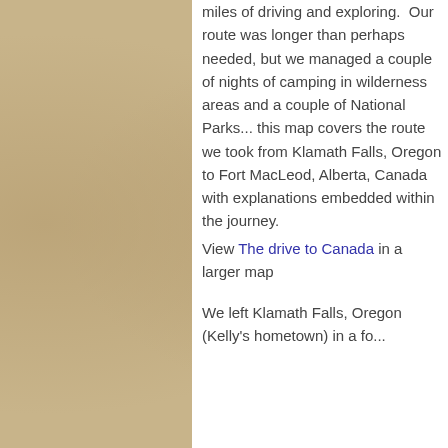miles of driving and exploring.  Our route was longer than perhaps needed, but we managed a couple of nights of camping in wilderness areas and a couple of National Parks... this map covers the route we took from Klamath Falls, Oregon to Fort MacLeod, Alberta, Canada with explanations embedded within the journey.
View The drive to Canada in a larger map
We left Klamath Falls, Oregon (Kelly's hometown) in a fo...